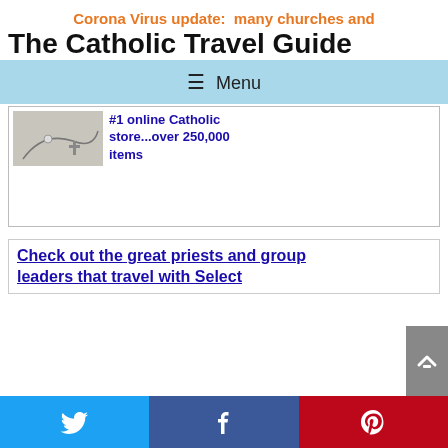Corona Virus update:  many churches and
The Catholic Travel Guide
☰ Menu
[Figure (photo): Partial image of Catholic items (rosary, cross) on a light background]
#1 online Catholic store...over 250,000 items
Check out the great priests and group leaders that travel with Select
[Figure (logo): Twitter bird icon on blue background]
[Figure (logo): Facebook f icon on dark blue background]
[Figure (logo): Pinterest P icon on red background]